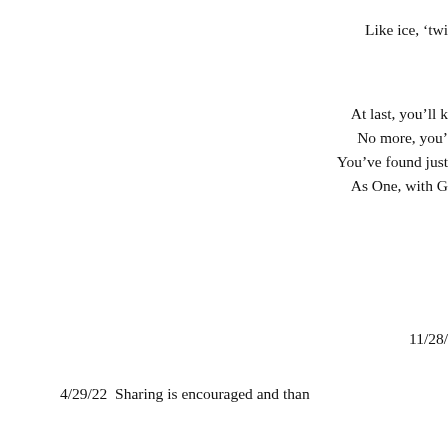Like ice, 'twi
At last, you'll k
No more, you'
You've found just
As One, with G
11/28/
4/29/22  Sharing is encouraged and than